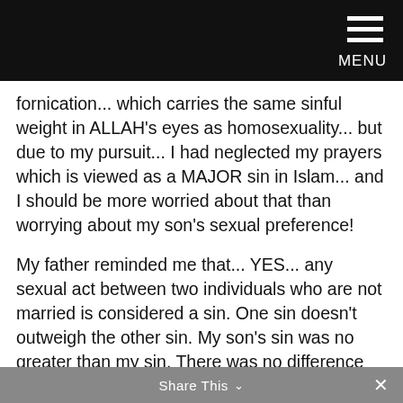MENU
fornication... which carries the same sinful weight in ALLAH's eyes as homosexuality... but due to my pursuit... I had neglected my prayers which is viewed as a MAJOR sin in Islam... and I should be more worried about that than worrying about my son's sexual preference!
My father reminded me that... YES... any sexual act between two individuals who are not married is considered a sin. One sin doesn't outweigh the other sin. My son's sin was no greater than my sin. There was no difference between the two. But, missing my prayers with no real excuse or delaying them because of whatever selfish reason is a higher sin than homosexuality.
Share This ×